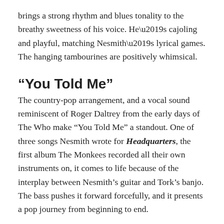brings a strong rhythm and blues tonality to the breathy sweetness of his voice. He’s cajoling and playful, matching Nesmith’s lyrical games. The hanging tambourines are positively whimsical.
“You Told Me”
The country-pop arrangement, and a vocal sound reminiscent of Roger Daltrey from the early days of The Who make “You Told Me” a standout. One of three songs Nesmith wrote for Headquarters, the first album The Monkees recorded all their own instruments on, it comes to life because of the interplay between Nesmith’s guitar and Tork’s banjo. The bass pushes it forward forcefully, and it presents a pop journey from beginning to end.
“Circle Sky”